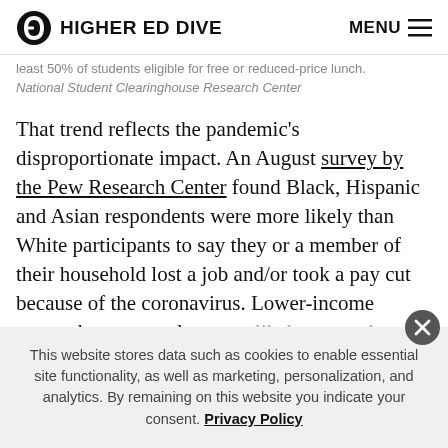HIGHER ED DIVE   MENU
least 50% of students eligible for free or reduced-price lunch.
National Student Clearinghouse Research Center
That trend reflects the pandemic's disproportionate impact. An August survey by the Pew Research Center found Black, Hispanic and Asian respondents were more likely than White participants to say they or a member of their household lost a job and/or took a pay cut because of the coronavirus. Lower-income respondents were also more likely to say the same.
This website stores data such as cookies to enable essential site functionality, as well as marketing, personalization, and analytics. By remaining on this website you indicate your consent. Privacy Policy